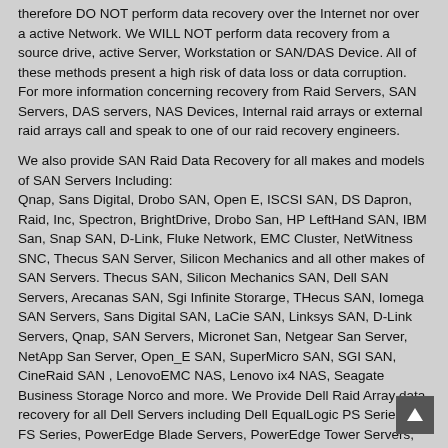therefore DO NOT perform data recovery over the Internet nor over a active Network. We WILL NOT perform data recovery from a source drive, active Server, Workstation or SAN/DAS Device. All of these methods present a high risk of data loss or data corruption. For more information concerning recovery from Raid Servers, SAN Servers, DAS servers, NAS Devices, Internal raid arrays or external raid arrays call and speak to one of our raid recovery engineers.
We also provide SAN Raid Data Recovery for all makes and models of SAN Servers Including:
Qnap, Sans Digital, Drobo SAN, Open E, ISCSI SAN, DS Dapron, Raid, Inc, Spectron, BrightDrive, Drobo San, HP LeftHand SAN, IBM San, Snap SAN, D-Link, Fluke Network, EMC Cluster, NetWitness SNC, Thecus SAN Server, Silicon Mechanics and all other makes of SAN Servers. Thecus SAN, Silicon Mechanics SAN, Dell SAN Servers, Arecanas SAN, Sgi Infinite Storarge, THecus SAN, Iomega SAN Servers, Sans Digital SAN, LaCie SAN, Linksys SAN, D-Link Servers, Qnap, SAN Servers, Micronet San, Netgear San Server, NetApp San Server, Open_E SAN, SuperMicro SAN, SGI SAN, CineRaid SAN , LenovoEMC NAS, Lenovo ix4 NAS, Seagate Business Storage Norco and more. We Provide Dell Raid Array data recovery for all Dell Servers including Dell EqualLogic PS Series and FS Series, PowerEdge Blade Servers, PowerEdge Tower Servers, PowerEdge Rackmount Servers, PowerVault NAS Servers, PowerVault SAN, HP StorFabric SAN HDS SAN Servers, ChenBro Server and more
Data Recovery For Flash Drives - Flash Media Data Recovery - SSD Drive Data Recovery - Cell Phone / Smartphone Android Phone...